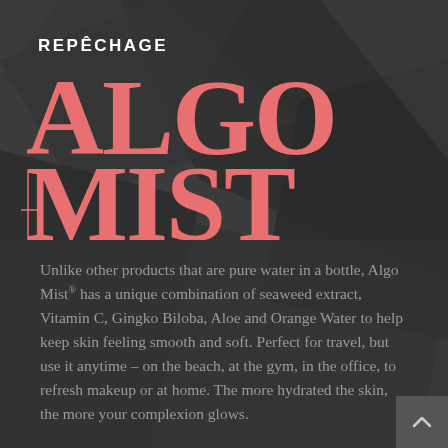REPÊCHAGE
[Figure (logo): Large stylized text logo reading ALGO MIST in salmon/coral pink serif font with bold display typography, overlaid on dark geometric background]
Unlike other products that are pure water in a bottle, Algo Mist® has a unique combination of seaweed extract, Vitamin C, Gingko Biloba, Aloe and Orange Water to help keep skin feeling smooth and soft. Perfect for travel, but use it anytime – on the beach, at the gym, in the office, to refresh makeup or at home. The more hydrated the skin, the more your complexion glows.